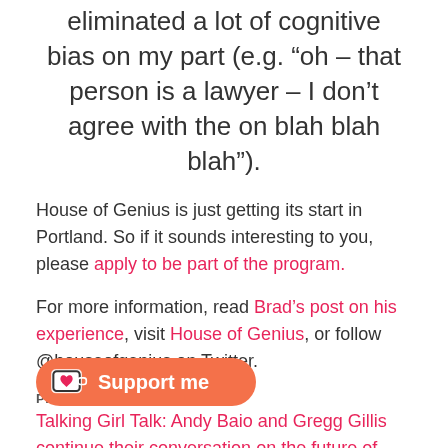eliminated a lot of cognitive bias on my part (e.g. “oh – that person is a lawyer – I don’t agree with the on blah blah blah”).
House of Genius is just getting its start in Portland. So if it sounds interesting to you, please apply to be part of the program.
For more information, read Brad’s post on his experience, visit House of Genius, or follow @houseofgenius on Twitter.
PREVIOUS:
Talking Girl Talk: Andy Baio and Gregg Gillis continue their conversation on the future of music (Part 2)
NEXT:
Screen launches flagship product, a wireless Android device for vending machines